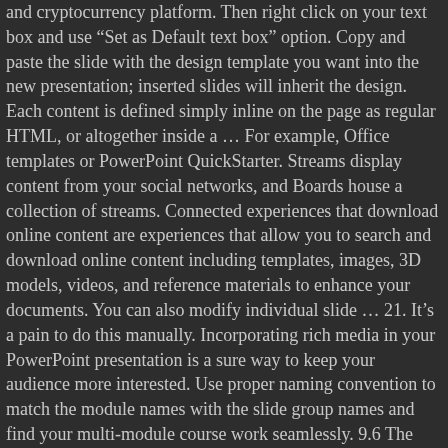and cryptocurrency platform. Then right click on your text box and use “Set as Default text box” option. Copy and paste the slide with the design template you want into the new presentation; inserted slides will inherit the design. Each content is defined simply inline on the page as regular HTML, or altogether inside a â¦ For example, Office templates or PowerPoint QuickStarter. Streams display content from your social networks, and Boards house a collection of streams. Connected experiences that download online content are experiences that allow you to search and download online content including templates, images, 3D models, videos, and reference materials to enhance your documents. You can also modify individual slide â¦ 21. Itâs a pain to do this manually. Incorporating rich media in your PowerPoint presentation is a sure way to keep your audience more interested. Use proper naming convention to match the module names with the slide group names and find your multi-module course work seamlessly. 9.6 The Slide View toolbar (annotated) This shows you a list of all the slides in your document. You'll use